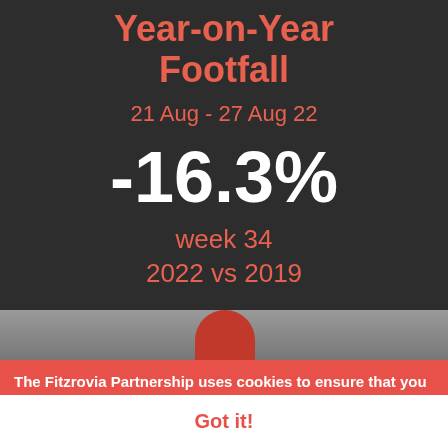Year-on-Year Footfall
21 Aug - 27 Aug 22
-16.3%
week 34
2022 vs 2019
[Figure (photo): Partial image strip showing a red rounded shape against a grey background]
The Fitzrovia Partnership uses cookies to ensure that you get the best experience on our website. Learn more
Got it!